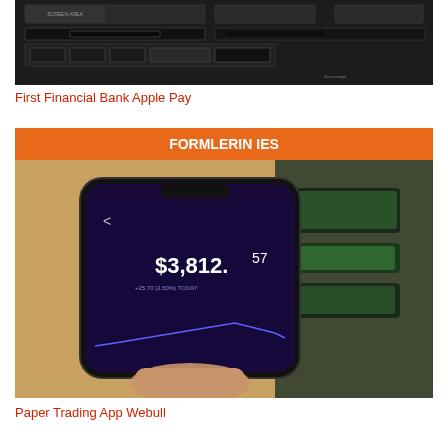[Figure (photo): Black and white photo of an ATM machine showing a card slot and keypad interface]
First Financial Bank Apple Pay
[Figure (photo): Photo of a smartphone being held by hand showing a trading/investment app with balance of $3,812.57, with orange and dark background]
Paper Trading App Webull